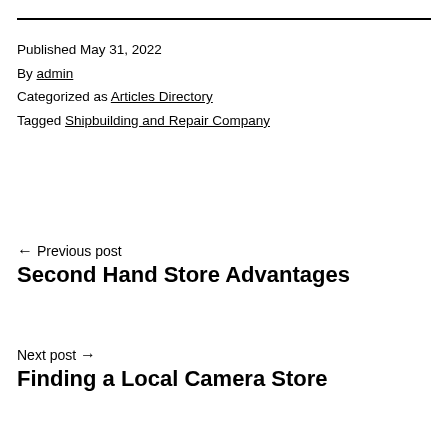Published May 31, 2022
By admin
Categorized as Articles Directory
Tagged Shipbuilding and Repair Company
← Previous post
Second Hand Store Advantages
Next post →
Finding a Local Camera Store